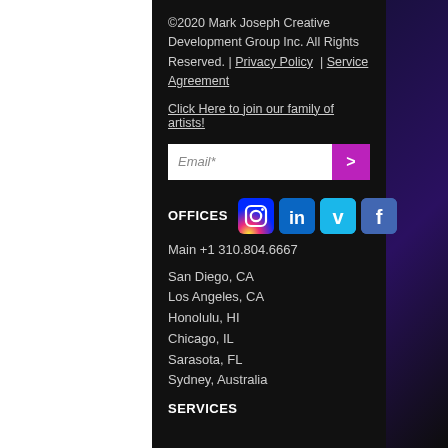©2020 Mark Joseph Creative Development Group Inc. All Rights Reserved. | Privacy Policy  |  Service Agreement
Click Here to join our family of artists!
Email*
OFFICES
Main  +1  310.804.6667
San Diego, CA
Los Angeles, CA
Honolulu, HI
Chicago, IL
Sarasota, FL
Sydney, Australia
SERVICES